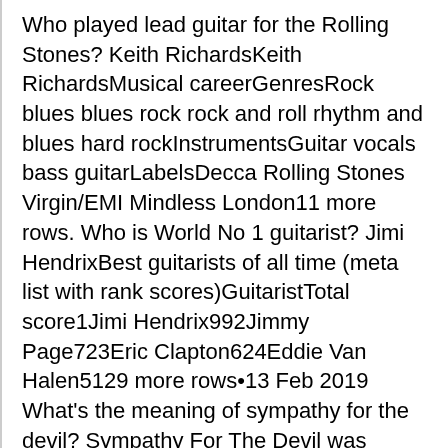Who played lead guitar for the Rolling Stones? Keith RichardsKeith RichardsMusical careerGenresRock blues blues rock rock and roll rhythm and blues hard rockInstrumentsGuitar vocals bass guitarLabelsDecca Rolling Stones Virgin/EMI Mindless London11 more rows. Who is World No 1 guitarist? Jimi HendrixBest guitarists of all time (meta list with rank scores)GuitaristTotal score1Jimi Hendrix992Jimmy Page723Eric Clapton624Eddie Van Halen5129 more rows•13 Feb 2019 What's the meaning of sympathy for the devil? Sympathy For The Devil was intended to be an analysis of the dark side of humanity; one which allows itself to be too easily swallowed up by the banality of evil, thereby helping it to accomplish the wickedness it craves. If you understand the Devil within yourself, maybe you can deal with him. What is Mick Jagger